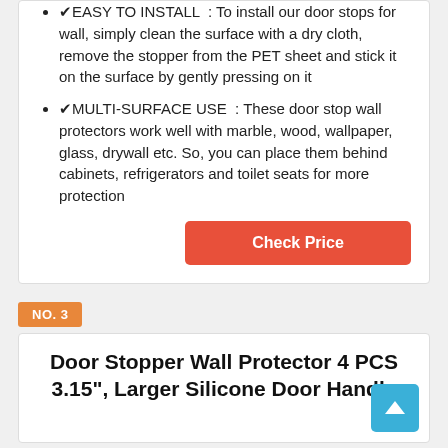🔴EASY TO INSTALL : To install our door stops for wall, simply clean the surface with a dry cloth, remove the stopper from the PET sheet and stick it on the surface by gently pressing on it
🔴MULTI-SURFACE USE : These door stop wall protectors work well with marble, wood, wallpaper, glass, drywall etc. So, you can place them behind cabinets, refrigerators and toilet seats for more protection
Check Price
NO. 3
Door Stopper Wall Protector 4 PCS 3.15", Larger Silicone Door Handle